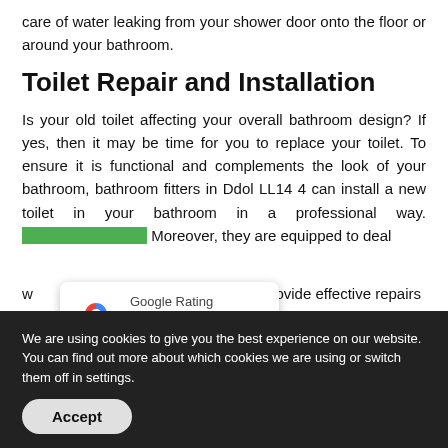care of water leaking from your shower door onto the floor or around your bathroom.
Toilet Repair and Installation
Is your old toilet affecting your overall bathroom design? If yes, then it may be time for you to replace your toilet. To ensure it is functional and complements the look of your bathroom, bathroom fitters in Ddol LL14 4 can install a new toilet in your bathroom in a professional way. Moreover, they are equipped to deal w provide effective repairs su o adding a new wax ring.
[Figure (other): Google Rating widget showing 5.0 stars]
We are using cookies to give you the best experience on our website. You can find out more about which cookies we are using or switch them off in settings.